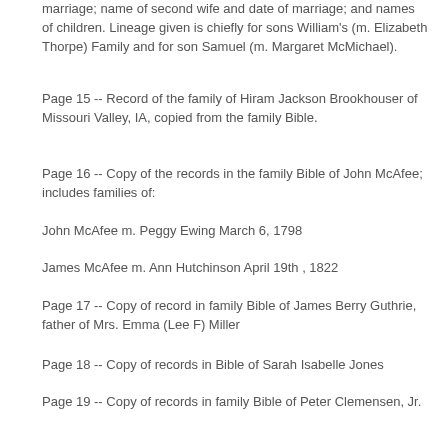marriage; name of second wife and date of marriage; and names of children. Lineage given is chiefly for sons William's (m. Elizabeth Thorpe) Family and for son Samuel (m. Margaret McMichael).
Page 15 -- Record of the family of Hiram Jackson Brookhouser of Missouri Valley, IA, copied from the family Bible.
Page 16 -- Copy of the records in the family Bible of John McAfee; includes families of:
John McAfee m. Peggy Ewing March 6, 1798
James McAfee m. Ann Hutchinson April 19th , 1822
Page 17 -- Copy of record in family Bible of James Berry Guthrie, father of Mrs. Emma (Lee F) Miller
Page 18 -- Copy of records in Bible of Sarah Isabelle Jones
Page 19 -- Copy of records in family Bible of Peter Clemensen, Jr.